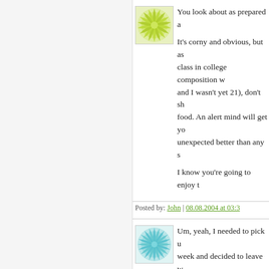[Figure (illustration): Green sunburst/radial pattern avatar thumbnail]
You look about as prepared a

It's corny and obvious, but as class in college composition w and I wasn't yet 21), don't sh food. An alert mind will get yo unexpected better than any s

I know you're going to enjoy t
Posted by: John | 08.08.2004 at 03:3
[Figure (illustration): Teal/cyan radial starburst pattern avatar thumbnail]
Um, yeah, I needed to pick u week and decided to leave w rush over there before 5 pm. minutes to leave school (han paperwork, shut windows, ga out, walk to car), and of cours before I even got near. The 'p organization part of it is not w though I like my students alo
Posted by: mary | 11.08.2004 at 05:5